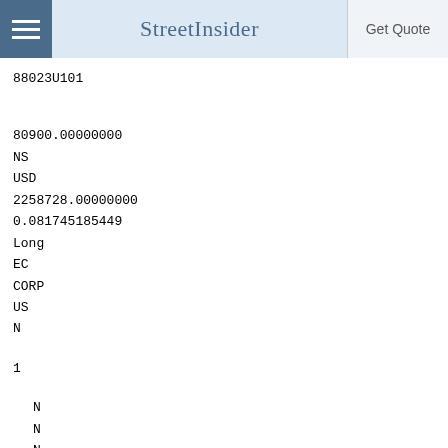StreetInsider | Get Quote
88023U101
80900.00000000
NS
USD
2258728.00000000
0.081745185449
Long
EC
CORP
US
N
1
N
N
N